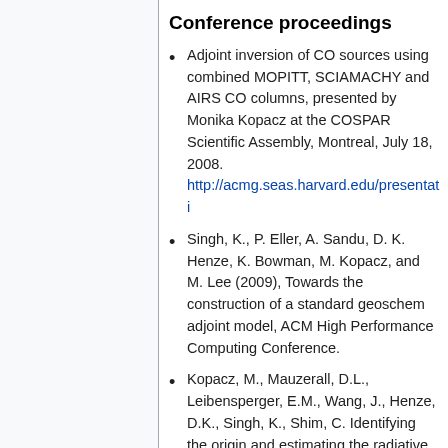Conference proceedings
Adjoint inversion of CO sources using combined MOPITT, SCIAMACHY and AIRS CO columns, presented by Monika Kopacz at the COSPAR Scientific Assembly, Montreal, July 18, 2008. http://acmg.seas.harvard.edu/presentati
Singh, K., P. Eller, A. Sandu, D. K. Henze, K. Bowman, M. Kopacz, and M. Lee (2009), Towards the construction of a standard geoschem adjoint model, ACM High Performance Computing Conference.
Kopacz, M., Mauzerall, D.L., Leibensperger, E.M., Wang, J., Henze, D.K., Singh, K., Shim, C. Identifying the origin and estimating the radiative forcing of BC in the Himalayas: an analysis using the